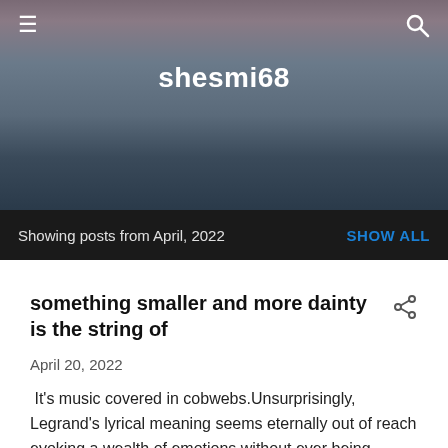[Figure (screenshot): Website header background with mountain/lake landscape at dusk, muted purple-blue tones]
shesmi68
Showing posts from April, 2022   SHOW ALL
something smaller and more dainty is the string of
April 20, 2022
It's music covered in cobwebs.Unsurprisingly, Legrand's lyrical meaning seems eternally out of reach evoking a wealth of emotions without ever being specific. Take "Heart of Chambers," in which she sings "In that nook I found you/So old and tired/Would you be the one to carry me? ...